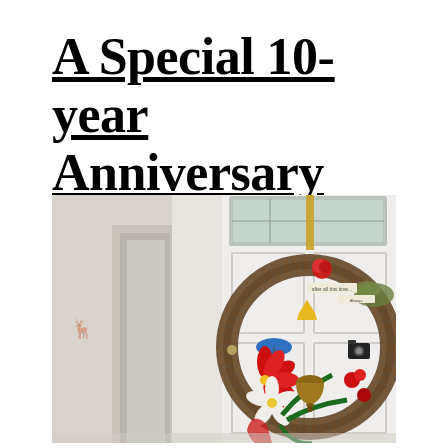A Special 10-year Anniversary Gift
[Figure (photo): A decorative grapevine wreath hanging on a white front door with a transom window. The wreath is adorned with red poinsettia flowers, white magnolia blooms, tropical leaves, a small blue umbrella, a camera ornament, a bronze bell, a small yellow tent, a red carnation, green moss, and small banner tags. The door is in a home entryway with a dark pendant lantern visible in the upper left and a hallway visible through a doorway to the left.]